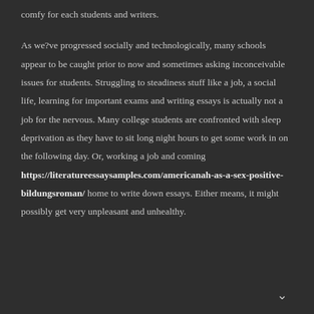comfy for each students and writers.
As we?ve progressed socially and technologically, many schools appear to be caught prior to now and sometimes asking inconceivable issues for students. Struggling to steadiness stuff like a job, a social life, learning for important exams and writing essays is actually not a job for the nervous. Many college students are confronted with sleep deprivation as they have to sit long night hours to get some work in on the following day. Or, working a job and coming https://literatureessaysamples.com/americanah-as-a-sex-positive-bildungsroman/ home to write down essays. Either means, it might possibly get very unpleasant and unhealthy.